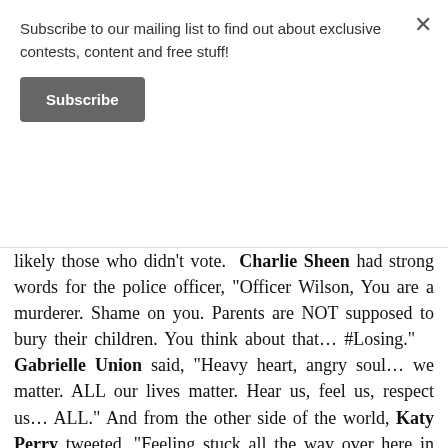Subscribe to our mailing list to find out about exclusive contests, content and free stuff!
Subscribe
likely those who didn't vote. Charlie Sheen had strong words for the police officer, “Officer Wilson, You are a murderer. Shame on you. Parents are NOT supposed to bury their children. You think about that… #Losing.” Gabrielle Union said, “Heavy heart, angry soul… we matter. ALL our lives matter. Hear us, feel us, respect us… ALL.” And from the other side of the world, Katy Perry tweeted, “Feeling stuck all the way over here in Sydney seeing the news just now… Sending my prayers to Ferguson & praying